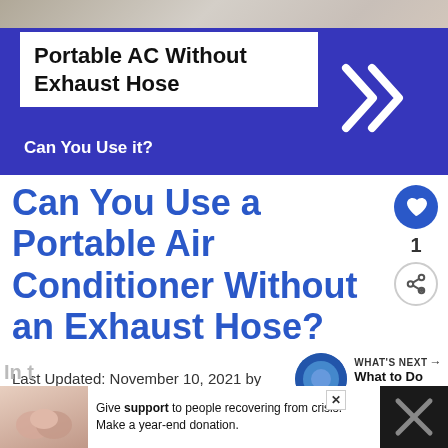[Figure (photo): Banner image showing a portable air conditioner article header with blue background, white text box containing 'Portable AC Without Exhaust Hose', subtitle 'Can You Use it?' in white, and double chevron arrows on the right]
Can You Use a Portable Air Conditioner Without an Exhaust Hose?
Last Updated: November 10, 2021 by
[Figure (infographic): What's Next section with thumbnail and text 'What to Do When Your...']
[Figure (photo): Advertisement bar at bottom: Give support to people recovering from crisis. Make a year-end donation.]